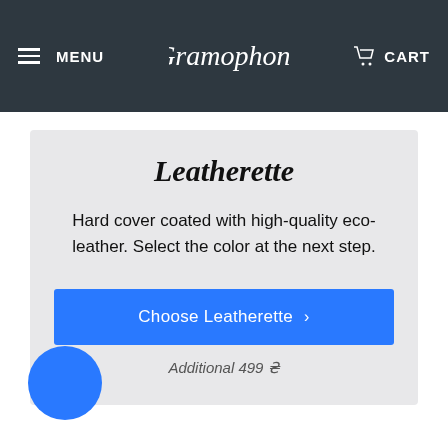MENU  Gramophone  CART
Leatherette
Hard cover coated with high-quality eco-leather. Select the color at the next step.
Choose Leatherette >
Additional 499 ₴
[Figure (other): Blue circular chat/support bubble button in bottom-left corner]